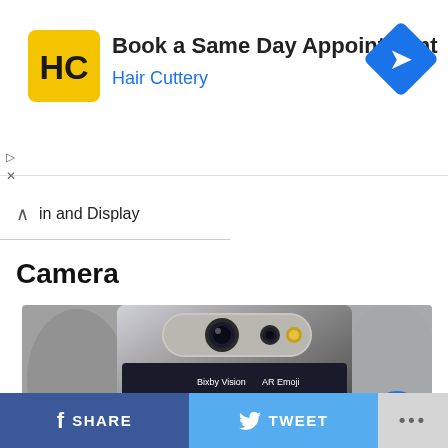[Figure (screenshot): Advertisement banner for Hair Cuttery: Book a Same Day Appointment, with yellow HC logo and blue navigation badge]
in and Display
Camera
[Figure (photo): Close-up photo of a Samsung Galaxy A80 smartphone showing its rotating triple camera module at the top, with the camera UI visible on screen showing Bixby Vision, AR Emoji, and various camera mode icons]
SHARE   TWEET   ...